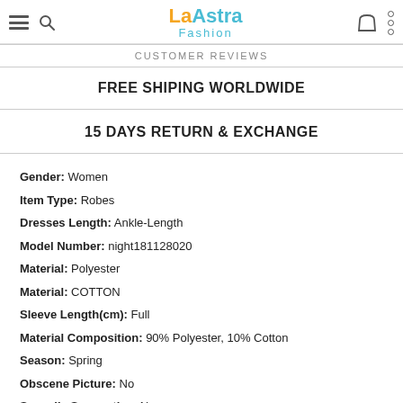La Astra Fashion
CUSTOMER REVIEWS
FREE SHIPING WORLDWIDE
15 DAYS RETURN & EXCHANGE
Gender: Women
Item Type: Robes
Dresses Length: Ankle-Length
Model Number: night181128020
Material: Polyester
Material: COTTON
Sleeve Length(cm): Full
Material Composition: 90% Polyester, 10% Cotton
Season: Spring
Obscene Picture: No
Sexually Suggestive: No